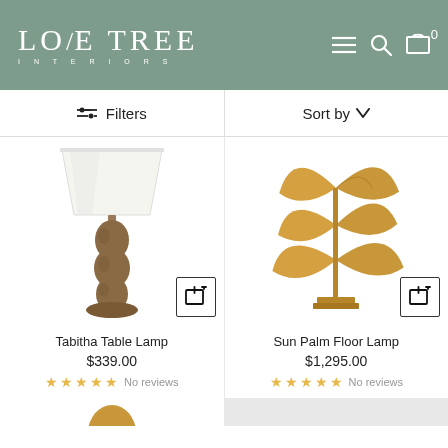LOVE TREE INTERIORS — navigation header with Filters and Sort by controls
[Figure (photo): Tabitha Table Lamp product photo: wooden bulbous base with white drum shade]
Tabitha Table Lamp
$339.00
★★★★★ No reviews
[Figure (photo): Sun Palm Floor Lamp product photo: gold sculptural fan-leaf floor lamp]
Sun Palm Floor Lamp
$1,295.00
★★★★★ No reviews